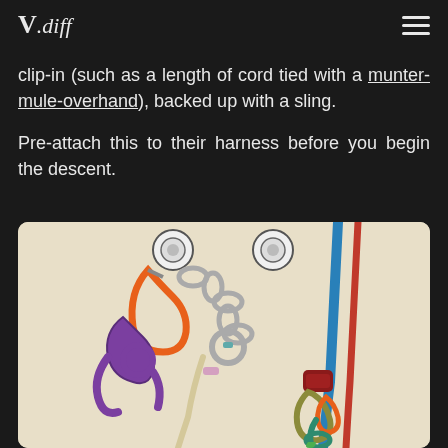V.diff
clip-in (such as a length of cord tied with a munter-mule-overhand), backed up with a sling.

Pre-attach this to their harness before you begin the descent.
[Figure (illustration): Illustration of climbing equipment showing carabiners, chains, ropes (purple, blue, red, beige, orange, green, teal), and knots connected to anchor bolts on a light beige background.]